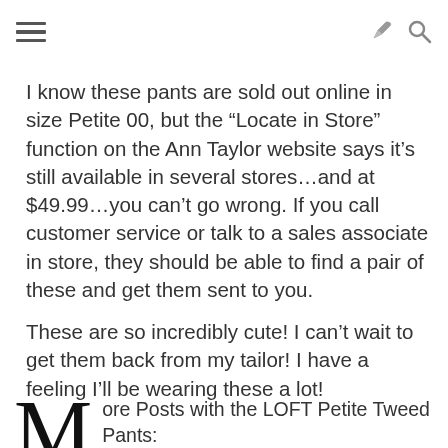[hamburger menu icon] [share icon] [search icon]
I know these pants are sold out online in size Petite 00, but the “Locate in Store” function on the Ann Taylor website says it’s still available in several stores…and at $49.99…you can’t go wrong. If you call customer service or talk to a sales associate in store, they should be able to find a pair of these and get them sent to you.
These are so incredibly cute! I can’t wait to get them back from my tailor! I have a feeling I’ll be wearing these a lot!
More Posts with the LOFT Petite Tweed Pants:
Petite Outfit: Cubicle Blues